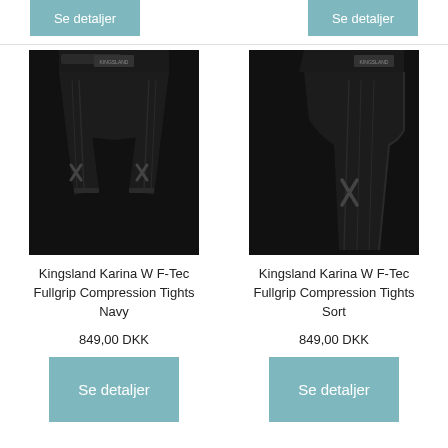[Figure (other): Partial 'Se detaljer' button at top left]
[Figure (other): Partial 'Se detaljer' button at top right]
[Figure (photo): Kingsland Karina W F-Tec Fullgrip Compression Tights Navy - front view, black compression tights]
Kingsland Karina W F-Tec Fullgrip Compression Tights Navy
849,00 DKK
Se detaljer
[Figure (photo): Kingsland Karina W F-Tec Fullgrip Compression Tights Sort - side view, black compression tights]
Kingsland Karina W F-Tec Fullgrip Compression Tights Sort
849,00 DKK
Se detaljer